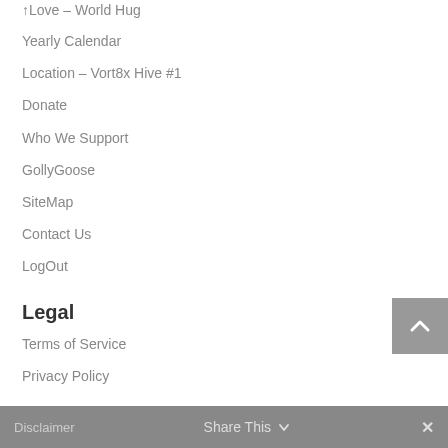Yearly Calendar
Location – Vort8x Hive #1
Donate
Who We Support
GollyGoose
SiteMap
Contact Us
LogOut
Legal
Terms of Service
Privacy Policy
Disclaimer   Share This   ✕